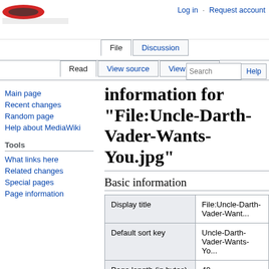Log in  Request account
Information for "File:Uncle-Darth-Vader-Wants-You.jpg"
Basic information
|  |  |
| --- | --- |
| Display title | File:Uncle-Darth-Vader-Want... |
| Default sort key | Uncle-Darth-Vader-Wants-Yo... |
| Page length (in bytes) | 49 |